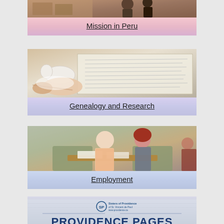[Figure (photo): Photo of people in Peru mission setting]
Mission in Peru
[Figure (photo): Gloved hand holding a white figurine over an open handwritten ledger book — genealogy and research imagery]
Genealogy and Research
[Figure (photo): Two women sitting at a desk with papers, smiling — employment setting]
Employment
[Figure (photo): Providence Pages newsletter header with Sisters of Providence of St. Vincent de Paul logo and large bold text reading PROVIDENCE PAGES]